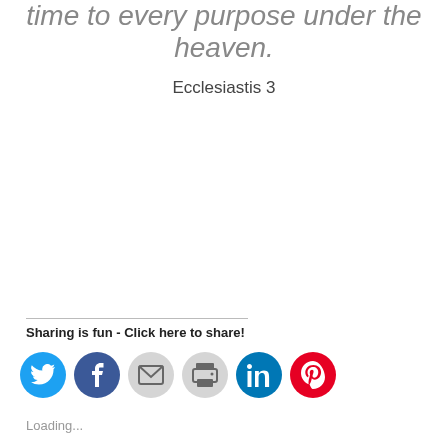time to every purpose under the heaven.
Ecclesiastis 3
Sharing is fun - Click here to share!
[Figure (infographic): Row of social sharing icon buttons: Twitter (blue), Facebook (dark blue), Email (gray), Print (gray), LinkedIn (teal), Pinterest (red)]
Loading...